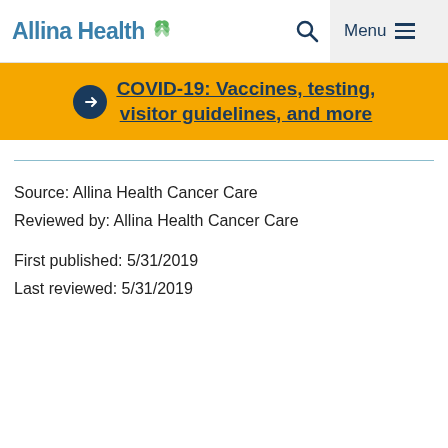Allina Health
COVID-19: Vaccines, testing, visitor guidelines, and more
Source: Allina Health Cancer Care
Reviewed by: Allina Health Cancer Care
First published: 5/31/2019
Last reviewed: 5/31/2019